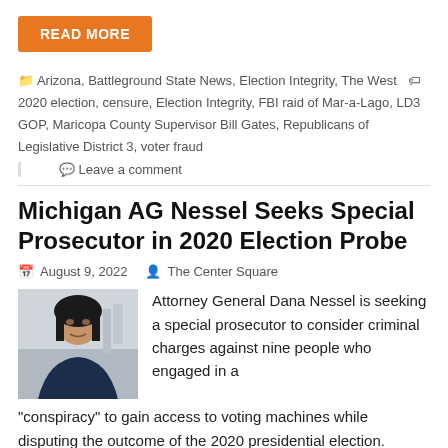READ MORE
Arizona, Battleground State News, Election Integrity, The West  2020 election, censure, Election Integrity, FBI raid of Mar-a-Lago, LD3 GOP, Maricopa County Supervisor Bill Gates, Republicans of Legislative District 3, voter fraud
Leave a comment
Michigan AG Nessel Seeks Special Prosecutor in 2020 Election Probe
August 9, 2022   The Center Square
[Figure (photo): Headshot photo of a woman with dark hair, in an indoor setting with blurred background including what appears to be flags.]
Attorney General Dana Nessel is seeking a special prosecutor to consider criminal charges against nine people who engaged in a "conspiracy" to gain access to voting machines while disputing the outcome of the 2020 presidential election.
The nine people include some high-profile names, including